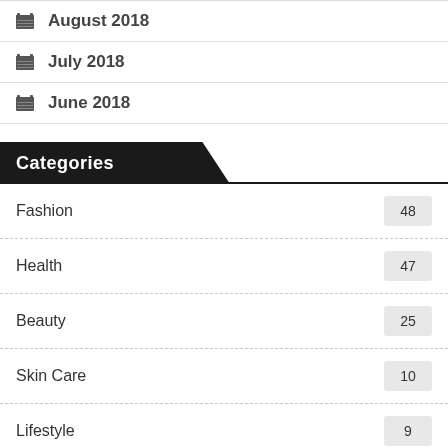August 2018
July 2018
June 2018
Categories
Fashion 48
Health 47
Beauty 25
Skin Care 10
Lifestyle 9
Salon 6